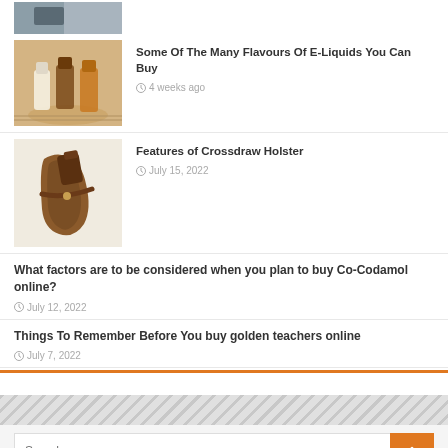[Figure (photo): Partial thumbnail at top, dark background image]
Some Of The Many Flavours Of E-Liquids You Can Buy
4 weeks ago
[Figure (photo): E-liquid bottles on a woven mat]
Features of Crossdraw Holster
July 15, 2022
[Figure (photo): Brown leather crossdraw holster with gun]
What factors are to be considered when you plan to buy Co-Codamol online?
July 12, 2022
Things To Remember Before You buy golden teachers online
July 7, 2022
Search …